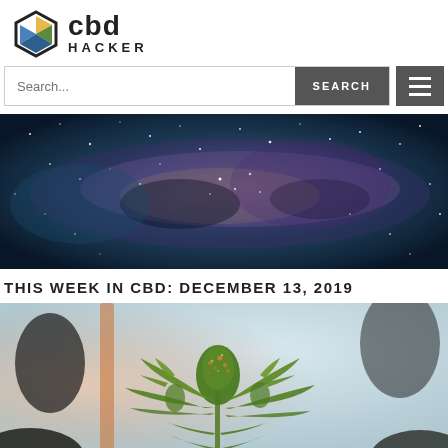[Figure (logo): CBD Hacker logo with hexagonal icon and text]
[Figure (other): Search bar with text input and SEARCH button, plus hamburger menu button]
[Figure (photo): Galaxy/Milky Way night sky banner photo]
THIS WEEK IN CBD: DECEMBER 13, 2019
[Figure (photo): Close-up photo of a cannabis plant with buds and leaves]